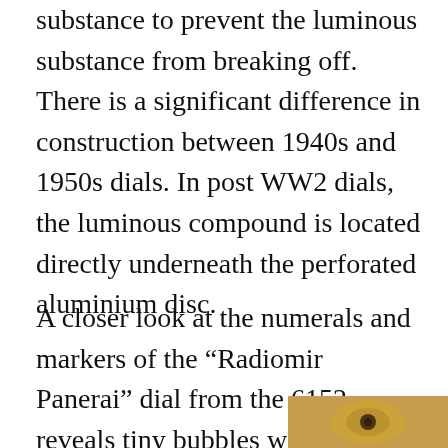substance to prevent the luminous substance from breaking off. There is a significant difference in construction between 1940s and 1950s dials. In post WW2 dials, the luminous compound is located directly underneath the perforated aluminium disc.
A closer look at the numerals and markers of the “Radiomir Panerai” dial from the 6152 reveals tiny bubbles within the clear “filling”.
[Figure (photo): Partial view of a close-up photograph of a watch dial, visible in the bottom-right corner of the page.]